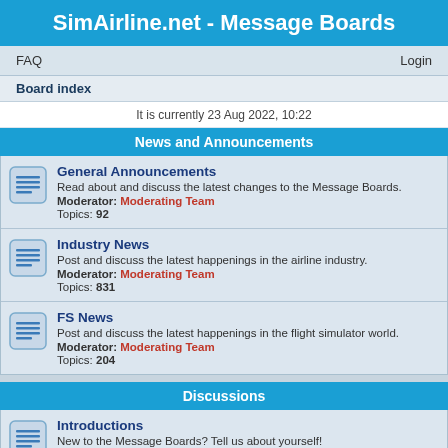SimAirline.net - Message Boards
FAQ   Login
Board index
It is currently 23 Aug 2022, 10:22
News and Announcements
General Announcements
Read about and discuss the latest changes to the Message Boards.
Moderator: Moderating Team
Topics: 92
Industry News
Post and discuss the latest happenings in the airline industry.
Moderator: Moderating Team
Topics: 831
FS News
Post and discuss the latest happenings in the flight simulator world.
Moderator: Moderating Team
Topics: 204
Discussions
Introductions
New to the Message Boards? Tell us about yourself!
Moderator: Moderating Team
Topics: 352